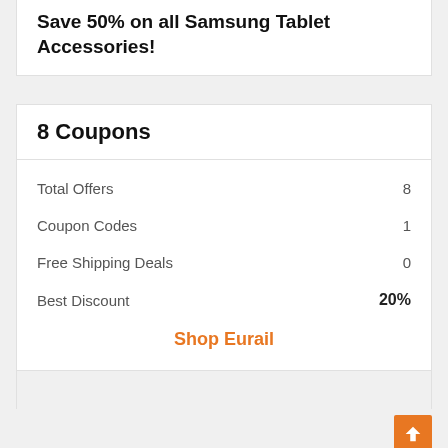Save 50% on all Samsung Tablet Accessories!
8 Coupons
Total Offers 8
Coupon Codes 1
Free Shipping Deals 0
Best Discount 20%
Shop Eurail